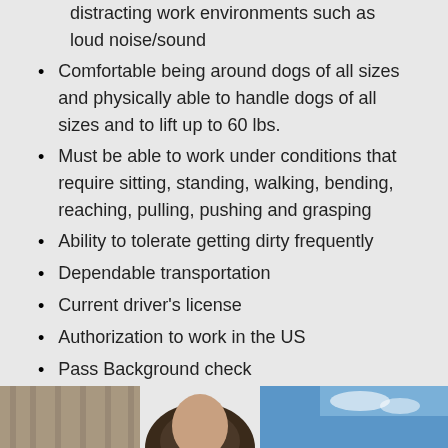distracting work environments such as loud noise/sound
Comfortable being around dogs of all sizes and physically able to handle dogs of all sizes and to lift up to 60 lbs.
Must be able to work under conditions that require sitting, standing, walking, bending, reaching, pulling, pushing and grasping
Ability to tolerate getting dirty frequently
Dependable transportation
Current driver's license
Authorization to work in the US
Pass Background check
[Figure (photo): Bottom strip showing a person outdoors with blue sky background]